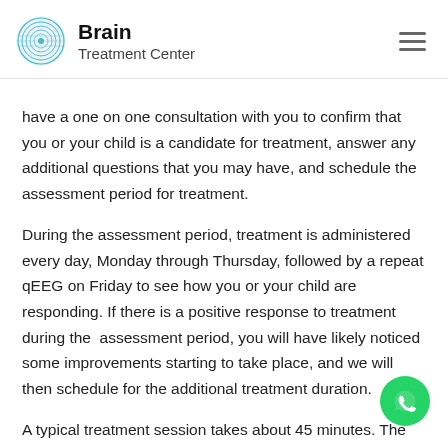Brain Treatment Center
have a one on one consultation with you to confirm that you or your child is a candidate for treatment, answer any additional questions that you may have, and schedule the assessment period for treatment.
During the assessment period, treatment is administered every day, Monday through Thursday, followed by a repeat qEEG on Friday to see how you or your child are responding. If there is a positive response to treatment during the assessment period, you will have likely noticed some improvements starting to take place, and we will then schedule for the additional treatment duration.
A typical treatment session takes about 45 minutes. The patient will sit in a chair while the neurotechnician adminis the treatment via a hand-held magnet that is held near the